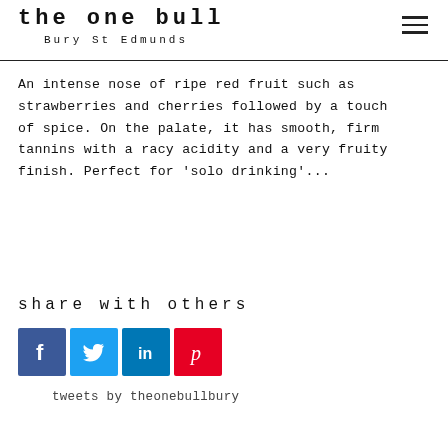the one bull
Bury St Edmunds
An intense nose of ripe red fruit such as strawberries and cherries followed by a touch of spice. On the palate, it has smooth, firm tannins with a racy acidity and a very fruity finish. Perfect for 'solo drinking'...
share with others
[Figure (other): Social media share icons: Facebook, Twitter, LinkedIn, Pinterest]
tweets by theonebullbury